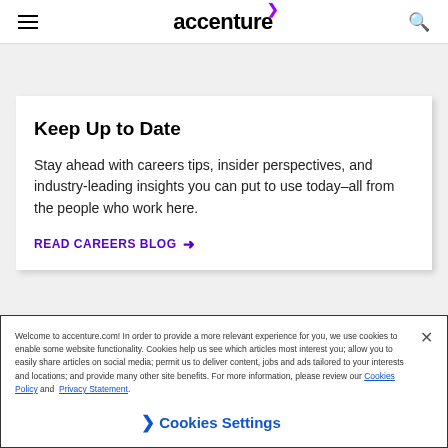accenture
Keep Up to Date
Stay ahead with careers tips, insider perspectives, and industry-leading insights you can put to use today–all from the people who work here.
READ CAREERS BLOG →
Welcome to accenture.com! In order to provide a more relevant experience for you, we use cookies to enable some website functionality. Cookies help us see which articles most interest you; allow you to easily share articles on social media; permit us to deliver content, jobs and ads tailored to your interests and locations; and provide many other site benefits. For more information, please review our Cookies Policy and Privacy Statement.
❯ Cookies Settings